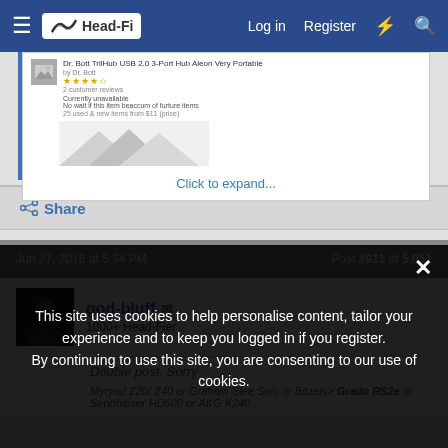Head-Fi — Log in   Register
[Figure (screenshot): Embedded product listing preview for Dr. Bott TrilHub USB 2.0 3-Port Hub, with star rating and description, partially visible. Mountain landscape placeholder image. Click to expand link.]
Click to expand...
Share
Jun 27, 2016 at 5:34 PM
Post #911 of 5,051
god-bluff
1000+ Head-Fier
Double post. Sorry
Myryad Z20/ Z40 or Graham Slee Solo or Bitzels> Grado RS2e or Sennheiser HD600 or AKG K240...
This site uses cookies to help personalise content, tailor your experience and to keep you logged in if you register.
By continuing to use this site, you are consenting to our use of cookies.